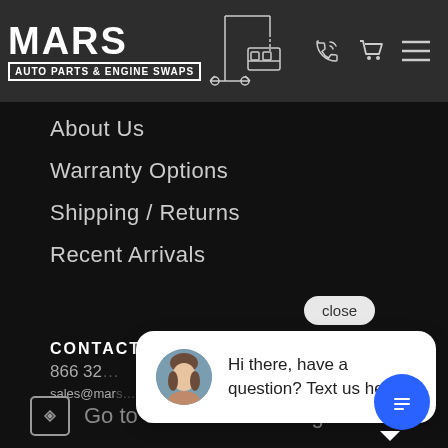MARS AUTO PARTS & ENGINE SWAPS
About Us
Warranty Options
Shipping / Returns
Recent Arrivals
close
Hi there, have a question? Text us here.
CONTACT
866 32…
sales@mars…
Go to our Facebook Page